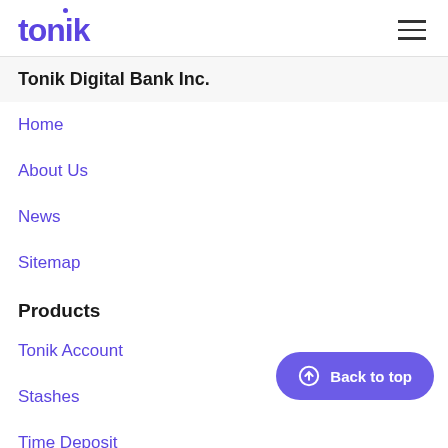tonik
Tonik Digital Bank Inc.
Home
About Us
News
Sitemap
Products
Tonik Account
Stashes
Time Deposit
Debit Cards